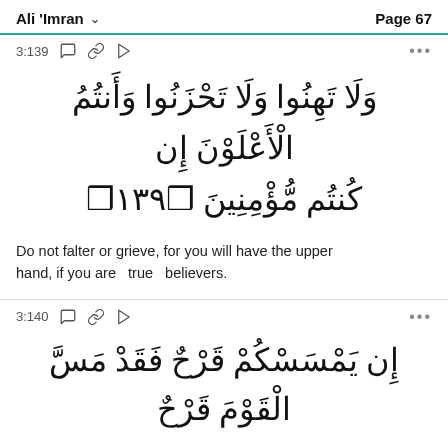Ali 'Imran   Page 67
3:139
وَلَا تَهِنُوا وَلَا تَحْزَنُوا وَأَنتُمُ الْأَعْلَوْنَ إِن كُنتُم مُّؤْمِنِينَ ۝١٣٩
Do not falter or grieve, for you will have the upper hand, if you are  true  believers.
3:140
إِن يَمْسَسْكُمْ قَرْحٌ فَقَدْ مَسَّ الْقَوْمَ قَرْحٌ